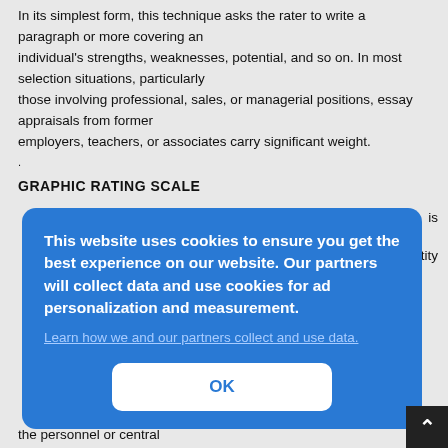In its simplest form, this technique asks the rater to write a paragraph or more covering an individual's strengths, weaknesses, potential, and so on. In most selection situations, particularly those involving professional, sales, or managerial positions, essay appraisals from former employers, teachers, or associates carry significant weight.
GRAPHIC RATING SCALE
is
ntity
the personnel or central
[Figure (screenshot): Cookie consent overlay popup with blue background. Text reads: 'This website uses cookies to ensure you get the best experience on our website. Our partners will collect data and use cookies for ad personalization and measurement.' with a link 'Learn how we and our partners collect and use data.' and an OK button.]